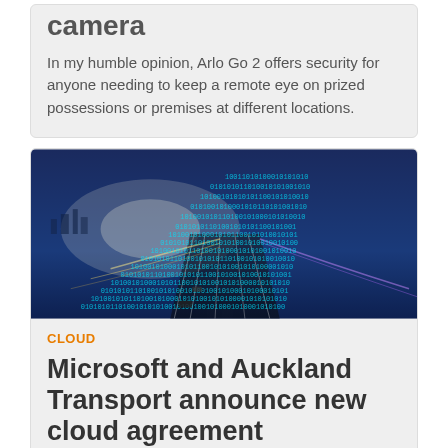camera
In my humble opinion, Arlo Go 2 offers security for anyone needing to keep a remote eye on prized possessions or premises at different locations.
[Figure (photo): A highway at night or dusk with binary code overlaid, representing digital/cloud technology and transportation.]
CLOUD
Microsoft and Auckland Transport announce new cloud agreement